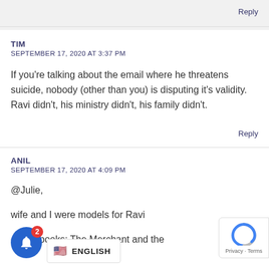Reply
TIM
SEPTEMBER 17, 2020 AT 3:37 PM
If you're talking about the email where he threatens suicide, nobody (other than you) is disputing it's validity. Ravi didn't, his ministry didn't, his family didn't.
Reply
ANIL
SEPTEMBER 17, 2020 AT 4:09 PM
@Julie,
wife and I were models for Ravi
dren's books: The Merchant and the